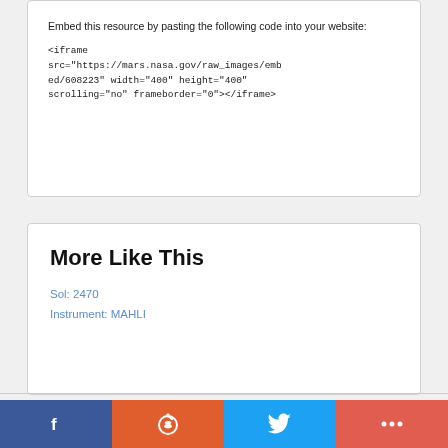Embed this resource by pasting the following code into your website:
<iframe src="https://mars.nasa.gov/raw_images/embed/608223" width="400" height="400" scrolling="no" frameborder="0"></iframe>
More Like This
Sol: 2470
Instrument: MAHLI